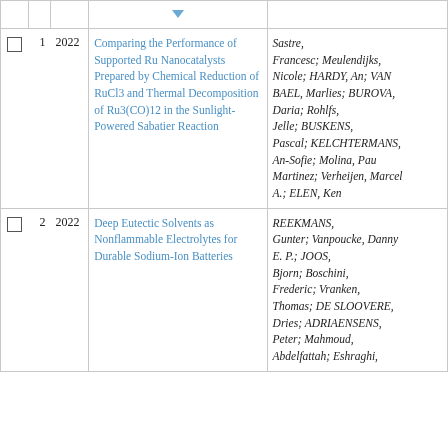|  | # | Year | Title | Authors |
| --- | --- | --- | --- | --- |
|  | 1 | 2022 | Comparing the Performance of Supported Ru Nanocatalysts Prepared by Chemical Reduction of RuCl3 and Thermal Decomposition of Ru3(CO)12 in the Sunlight-Powered Sabatier Reaction | Sastre, Francesc; Meulendijks, Nicole; HARDY, An; VAN BAEL, Marlies; BUROVA, Daria; Rohlfs, Jelle; BUSKENS, Pascal; KELCHTERMANS, An-Sofie; Molina, Pau Martinez; Verheijen, Marcel A.; ELEN, Ken |
|  | 2 | 2022 | Deep Eutectic Solvents as Nonflammable Electrolytes for Durable Sodium-Ion Batteries | REEKMANS, Gunter; Vanpoucke, Danny E. P.; JOOS, Bjorn; Boschini, Frederic; Vranken, Thomas; DE SLOOVERE, Dries; ADRIAENSENS, Peter; Mahmoud, Abdelfattah; Eshraghi, |